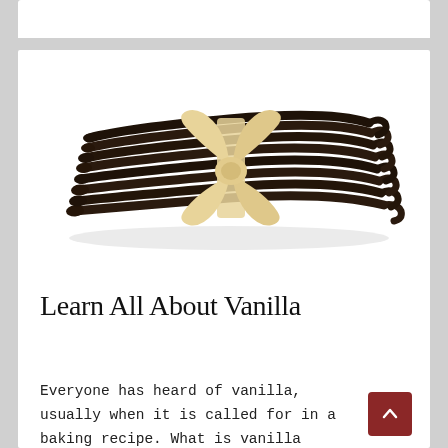[Figure (photo): A bundle of dark brown vanilla beans tied together in the middle with a light tan/cream colored ribbon bow, photographed against a white background.]
Learn All About Vanilla
Everyone has heard of vanilla, usually when it is called for in a baking recipe. What is vanilla exactly, where